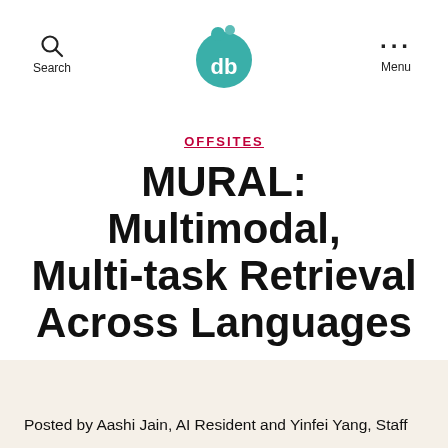Search  db  Menu
OFFSITES
MURAL: Multimodal, Multi-task Retrieval Across Languages
By  November 30, 2021  No Comments
Posted by Aashi Jain, AI Resident and Yinfei Yang, Staff